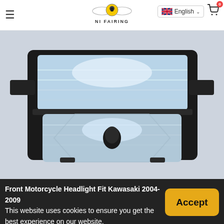≡  NI FAIRING  English  0
[Figure (photo): A front-facing motorcycle headlight assembly with clear lens housing on a light grey background. The headlight has dual-beam reflector design with a black mounting bracket.]
Front Motorcycle Headlight Fit Kawasaki 2004-2009
This website uses cookies to ensure you get the best experience on our website. Privacy Policy
Accept